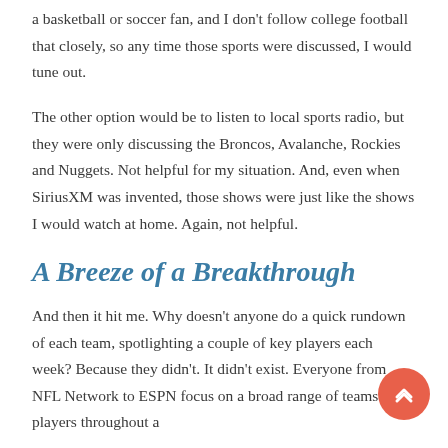a basketball or soccer fan, and I don't follow college football that closely, so any time those sports were discussed, I would tune out.
The other option would be to listen to local sports radio, but they were only discussing the Broncos, Avalanche, Rockies and Nuggets. Not helpful for my situation. And, even when SiriusXM was invented, those shows were just like the shows I would watch at home. Again, not helpful.
A Breeze of a Breakthrough
And then it hit me. Why doesn't anyone do a quick rundown of each team, spotlighting a couple of key players each week? Because they didn't. It didn't exist. Everyone from NFL Network to ESPN focus on a broad range of teams and players throughout a